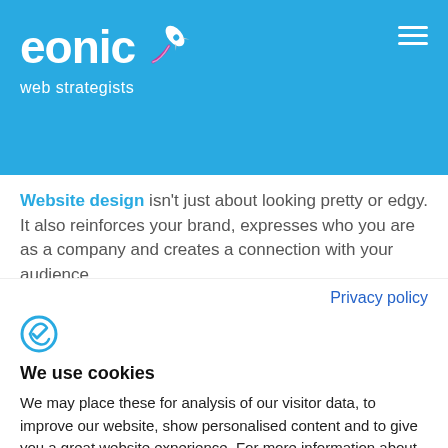[Figure (logo): Eonic web strategists logo on blue background with rocket icon and hamburger menu]
Website design isn't just about looking pretty or edgy. It also reinforces your brand, expresses who you are as a company and creates a connection with your audience.
Privacy policy
[Figure (logo): Cookie consent manager logo icon (stylized C with checkmark)]
We use cookies
We may place these for analysis of our visitor data, to improve our website, show personalised content and to give you a great website experience. For more information about the cookies we use open the settings.
Accept all
Deny
No, adjust